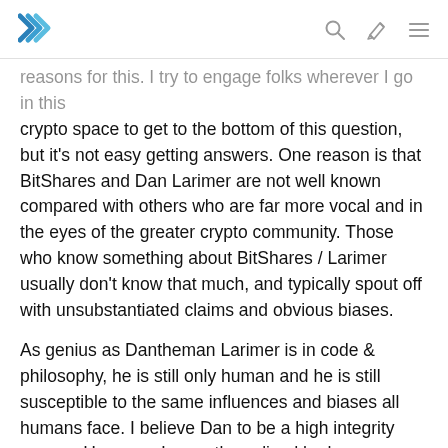Steemit logo with search, edit, and menu icons
reasons for this. I try to engage folks wherever I go in this crypto space to get to the bottom of this question, but it's not easy getting answers. One reason is that BitShares and Dan Larimer are not well known compared with others who are far more vocal and in the eyes of the greater crypto community. Those who know something about BitShares / Larimer usually don't know that much, and typically spout off with unsubstantiated claims and obvious biases.
As genius as Dantheman Larimer is in code & philosophy, he is still only human and he is still susceptible to the same influences and biases all humans face. I believe Dan to be a high integrity person. However, I recently realized he has a tendency to make decisions that impact others without considering how those decisions would affect them. It seems to be a recurring pattern with him. If you had